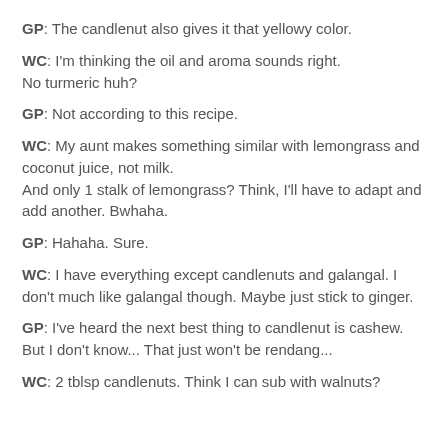GP: The candlenut also gives it that yellowy color.
WC: I'm thinking the oil and aroma sounds right. No turmeric huh?
GP: Not according to this recipe.
WC: My aunt makes something similar with lemongrass and coconut juice, not milk. And only 1 stalk of lemongrass? Think, I'll have to adapt and add another. Bwhaha.
GP: Hahaha. Sure.
WC: I have everything except candlenuts and galangal. I don't much like galangal though. Maybe just stick to ginger.
GP: I've heard the next best thing to candlenut is cashew. But I don't know... That just won't be rendang...
WC: 2 tblsp candlenuts. Think I can sub with walnuts?